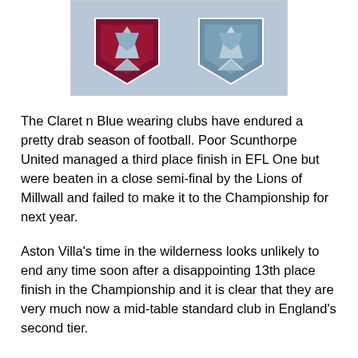[Figure (illustration): Two claret and blue football club crests/shields side by side on a light blue background]
The Claret n Blue wearing clubs have endured a pretty drab season of football. Poor Scunthorpe United managed a third place finish in EFL One but were beaten in a close semi-final by the Lions of Millwall and failed to make it to the Championship for next year.
Aston Villa's time in the wilderness looks unlikely to end any time soon after a disappointing 13th place finish in the Championship and it is clear that they are very much now a mid-table standard club in England's second tier.
In Ireland, Drogheda United are struggling in the Eircom Premier League and lie in relegation zone after a 5-0 thumping by Cork City on Friday in which ex-Hammer Sean Maguire bagged a brace to bring his total to 13 for the season.
In Turkey, Trabzonspor are chasing a Europa League spot